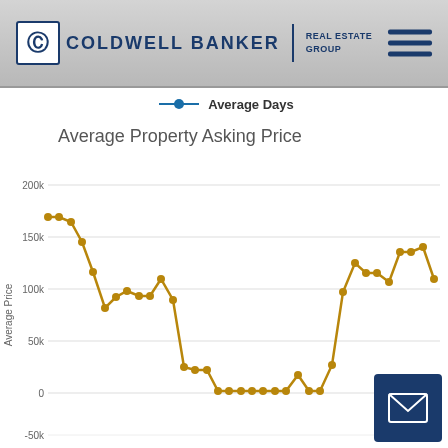Coldwell Banker Real Estate Group
Average Days (legend)
Average Property Asking Price
[Figure (line-chart): Average Property Asking Price]